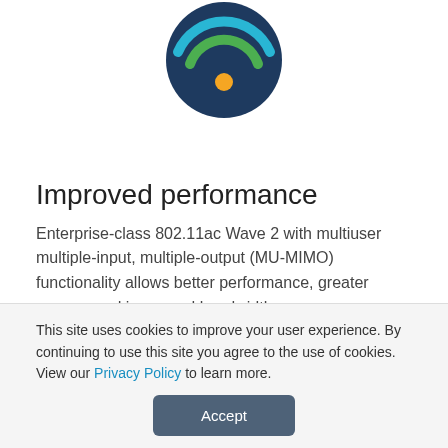[Figure (illustration): WiFi signal icon on dark blue circular background with cyan and green arcs and orange center dot]
Improved performance
Enterprise-class 802.11ac Wave 2 with multiuser multiple-input, multiple-output (MU-MIMO) functionality allows better performance, greater access, and increased bandwidth.
[Figure (illustration): Dashboard/analytics icon on dark blue semicircular background showing bar charts and a pie chart on a screen]
This site uses cookies to improve your user experience. By continuing to use this site you agree to the use of cookies. View our Privacy Policy to learn more.